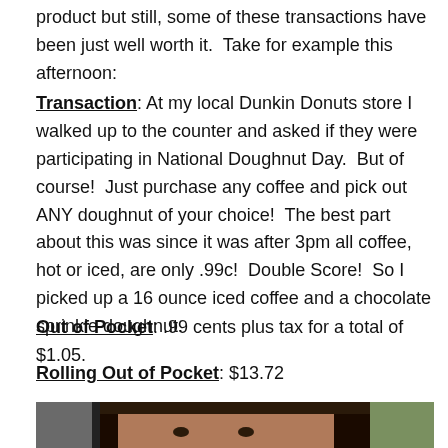product but still, some of these transactions have been just well worth it.  Take for example this afternoon:
Transaction: At my local Dunkin Donuts store I walked up to the counter and asked if they were participating in National Doughnut Day.  But of course!  Just purchase any coffee and pick out ANY doughnut of your choice!  The best part about this was since it was after 3pm all coffee, hot or iced, are only .99c!  Double Score!  So I picked up a 16 ounce iced coffee and a chocolate sprinkle doughnut.
Out of Pocket: .99 cents plus tax for a total of $1.05.
Rolling Out of Pocket: $13.72
[Figure (photo): Partial photo of a person's face with dark hair, with a dark background on the left and greenery on the right.]